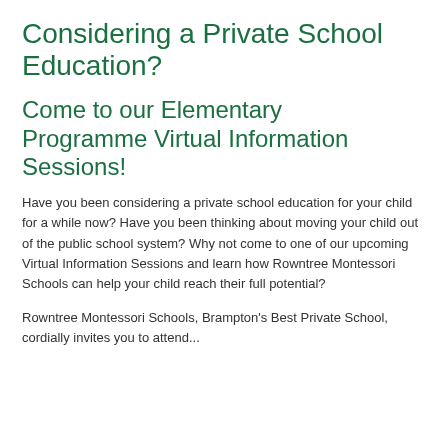Considering a Private School Education?
Come to our Elementary Programme Virtual Information Sessions!
Have you been considering a private school education for your child for a while now? Have you been thinking about moving your child out of the public school system? Why not come to one of our upcoming Virtual Information Sessions and learn how Rowntree Montessori Schools can help your child reach their full potential?
Rowntree Montessori Schools, Brampton's Best Private School, cordially invites you to attend...